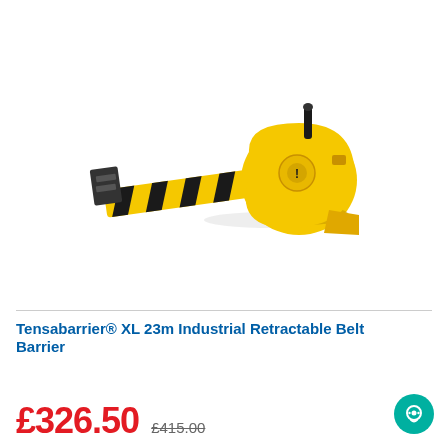[Figure (photo): Yellow Tensabarrier XL 23m Industrial Retractable Belt Barrier with yellow and black striped belt extended, wall-mount unit with black end cap, shown on white background]
Tensabarrier® XL 23m Industrial Retractable Belt Barrier
£326.50  £415.00